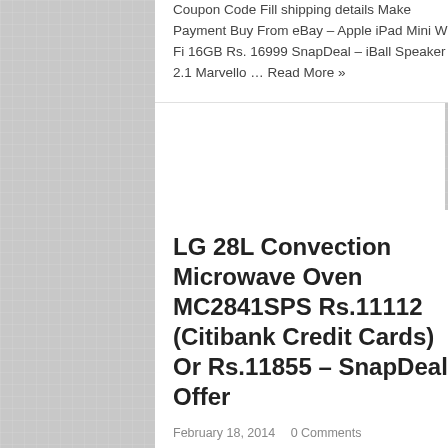Coupon Code Fill shipping details Make Payment Buy From eBay – Apple iPad Mini Wi-Fi 16GB Rs. 16999 SnapDeal – iBall Speaker 2.1 Marvello … Read More »
LG 28L Convection Microwave Oven MC2841SPS Rs.11112 (Citibank Credit Cards) Or Rs.11855 – SnapDeal Offer
February 18, 2014   0 Comments
[Figure (other): Blank white image placeholder rectangle]